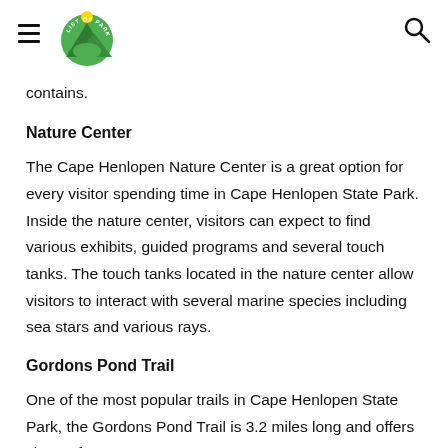List of Parks [logo] [hamburger menu] [search icon]
contains.
Nature Center
The Cape Henlopen Nature Center is a great option for every visitor spending time in Cape Henlopen State Park. Inside the nature center, visitors can expect to find various exhibits, guided programs and several touch tanks. The touch tanks located in the nature center allow visitors to interact with several marine species including sea stars and various rays.
Gordons Pond Trail
One of the most popular trails in Cape Henlopen State Park, the Gordons Pond Trail is 3.2 miles long and offers views of